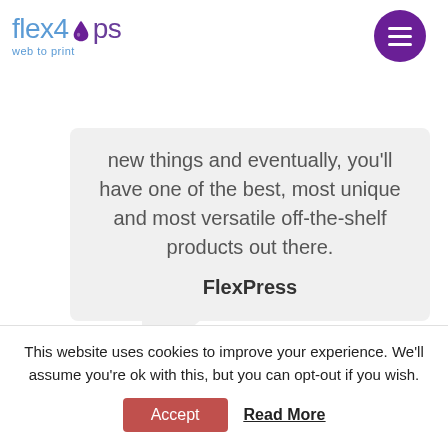[Figure (logo): flex4ops web to print logo with purple drop icon and circular purple menu button]
new things and eventually, you'll have one of the best, most unique and most versatile off-the-shelf products out there.
FlexPress
We have been delighted with the
This website uses cookies to improve your experience. We'll assume you're ok with this, but you can opt-out if you wish.
Accept
Read More